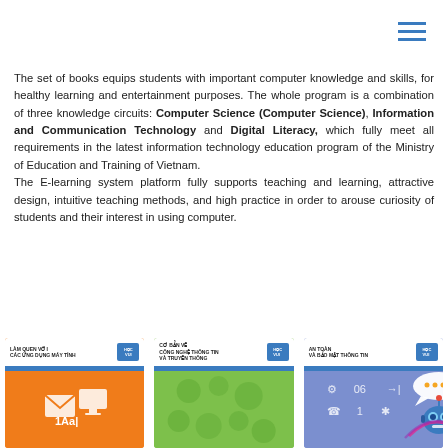[Figure (illustration): Hamburger menu icon with three horizontal blue lines in top right corner]
The set of books equips students with important computer knowledge and skills, for healthy learning and entertainment purposes. The whole program is a combination of three knowledge circuits: Computer Science (Computer Science), Information and Communication Technology and Digital Literacy, which fully meet all requirements in the latest information technology education program of the Ministry of Education and Training of Vietnam.
The E-learning system platform fully supports teaching and learning, attractive design, intuitive teaching methods, and high practice in order to arouse curiosity of students and their interest in using computer.
[Figure (photo): Three book covers shown side by side: Book 1 (orange) titled 'LÀM QUEN VỚI CÁC ỨNG DỤNG MÁY TÍNH', Book 2 (green) titled 'CƠ BẢN VỀ CÔNG NGHỆ THÔNG TIN VÀ TRUYỀN THÔNG', Book 3 (blue/purple) titled 'AN TOÀN VÀ BẢO MẬT THÔNG TIN' with a robot chatbot icon overlay in the bottom right]